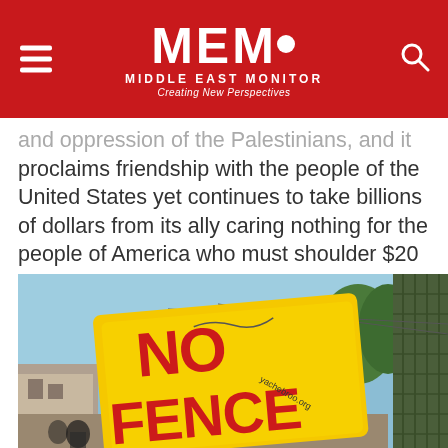MEMO MIDDLE EAST MONITOR Creating New Perspectives
and oppression of the Palestinians, and it proclaims friendship with the people of the United States yet continues to take billions of dollars from its ally caring nothing for the people of America who must shoulder $20 trillion of debt, even though Israel is one of the wealthiest nations in the world.
[Figure (photo): A yellow protest sign reading 'NO FENCE' with red graffiti-style lettering, held up outdoors. In the background: blue sky, trees, buildings, and a green metal fence on the right. Small text on sign reads 'yachebroo.org'.]